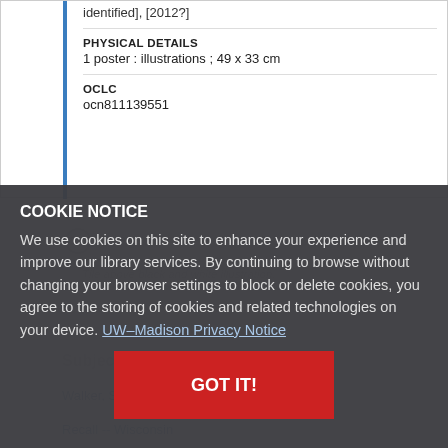identified], [2012?]
PHYSICAL DETAILS
1 poster : illustrations ; 49 x 33 cm
OCLC
ocn811139551
COOKIE NOTICE
We use cookies on this site to enhance your experience and improve our library services. By continuing to browse without changing your browser settings to block or delete cookies, you agree to the storing of cookies and related technologies on your device. UW–Madison Privacy Notice
GOT IT!
Notes
Tile above black and white illustration.
Subjects
Walker, Scott, 1967-
Recall -- Wisconsin